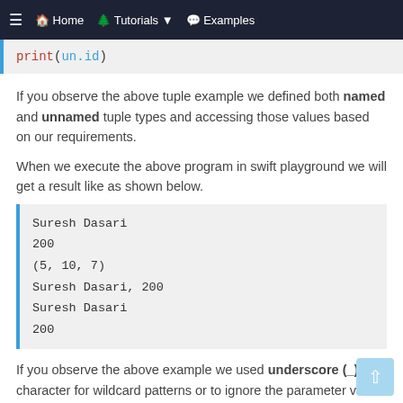≡  🏠 Home    🌲 Tutorials ▾    💬 Examples
[Figure (screenshot): Code block showing: print(un.id)]
If you observe the above tuple example we defined both named and unnamed tuple types and accessing those values based on our requirements.
When we execute the above program in swift playground we will get a result like as shown below.
[Figure (screenshot): Output block showing: Suresh Dasari
200
(5, 10, 7)
Suresh Dasari, 200
Suresh Dasari
200]
If you observe the above example we used underscore (_) character for wildcard patterns or to ignore the parameter value.